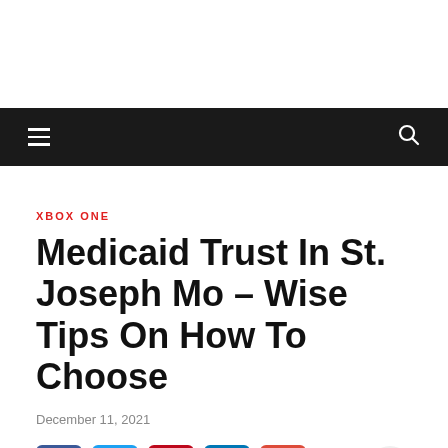[Figure (screenshot): Black navigation bar with hamburger menu icon on left and search icon on right]
XBOX ONE
Medicaid Trust In St. Joseph Mo – Wise Tips On How To Choose
December 11, 2021
[Figure (other): Social media share buttons: Facebook, Twitter, Pinterest, LinkedIn, Google+, and a scroll-to-top button]